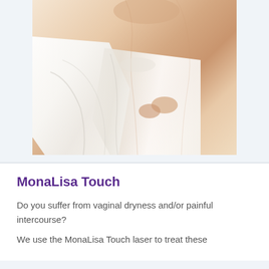[Figure (photo): A woman's torso wearing a white draped fabric/skirt, with a light background. Only the midsection and legs are visible.]
MonaLisa Touch
Do you suffer from vaginal dryness and/or painful intercourse?
We use the MonaLisa Touch laser to treat these